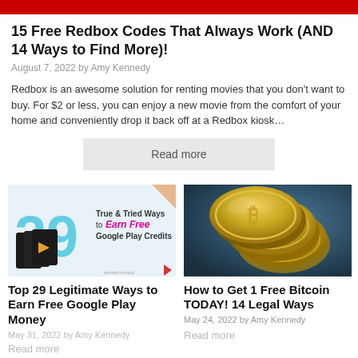15 Free Redbox Codes That Always Work (AND 14 Ways to Find More)!
August 7, 2022 by Amy Kennedy
Redbox is an awesome solution for renting movies that you don't want to buy. For $2 or less, you can enjoy a new movie from the comfort of your home and conveniently drop it back off at a Redbox kiosk…
Read more
[Figure (illustration): Promotional image for Top 29 Legitimate Ways to Earn Free Google Play Money showing Google Play cards and text]
[Figure (photo): Stack of golden Bitcoin coins on dark background]
Top 29 Legitimate Ways to Earn Free Google Play Money
May 31, 2022 by Amy Kennedy
Read more
How to Get 1 Free Bitcoin TODAY! 14 Legal Ways
May 24, 2022 by Amy Kennedy
Read more